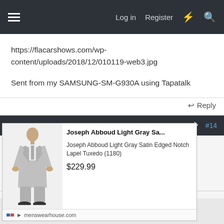Log in  Register
https://flacarshows.com/wp-content/uploads/2018/12/010119-web3.jpg
Sent from my SAMSUNG-SM-G930A using Tapatalk
Reply
Jan 1, 2019  #14
jowens1126
Jim
[Figure (photo): Advertisement: Man in light gray tuxedo suit. Joseph Abboud Light Gray Sa... Joseph Abboud Light Gray Satin Edged Notch Lapel Tuxedo (1180) $229.99 menswearhouse.com]